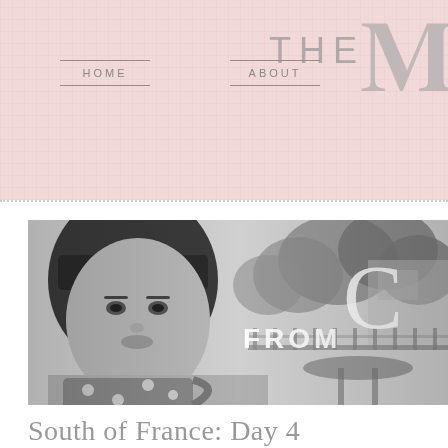THE [M...]
HOME   ABOUT
[Figure (photo): Black and white photo of a young woman with bangs holding a polka dot mug, seated at an outdoor cafe with trees and buildings in background. Text overlay reads 'FROM C...' in decorative script.]
South of France: Day 4